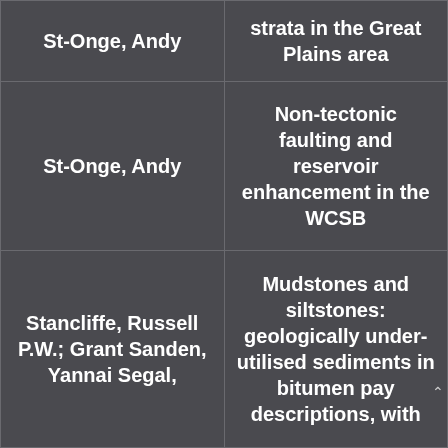| Author | Title |
| --- | --- |
| St-Onge, Andy | strata in the Great Plains area |
| St-Onge, Andy | Non-tectonic faulting and reservoir enhancement in the WCSB |
| Stancliffe, Russell P.W.; Grant Sanden, Yannai Segal, | Mudstones and siltstones: geologically under-utilised sediments in bitumen pay descriptions, with |